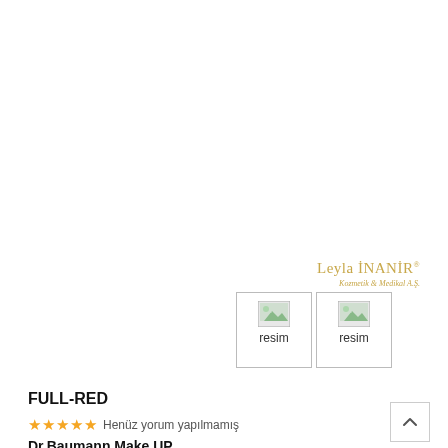[Figure (logo): Leyla İNANIR brand logo with cursive subtitle]
[Figure (photo): Two broken image placeholders labeled 'resim']
FULL-RED
★★★★★ Henüz yorum yapılmamış
Dr.Baumann Make UP
4 g